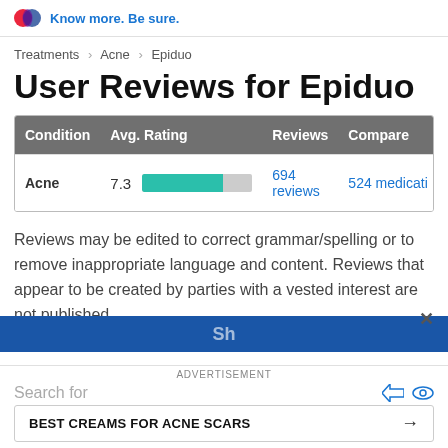Know more. Be sure.
Treatments > Acne > Epiduo
User Reviews for Epiduo
| Condition | Avg. Rating | Reviews | Compare |
| --- | --- | --- | --- |
| Acne | 7.3 | 694 reviews | 524 medicati... |
Reviews may be edited to correct grammar/spelling or to remove inappropriate language and content. Reviews that appear to be created by parties with a vested interest are not published.
ADVERTISEMENT
Search for
BEST CREAMS FOR ACNE SCARS →